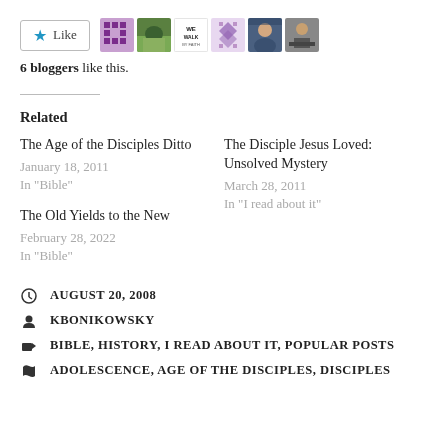[Figure (other): Like button with star icon and 6 blogger avatar thumbnails]
6 bloggers like this.
Related
The Age of the Disciples Ditto
January 18, 2011
In "Bible"
The Disciple Jesus Loved: Unsolved Mystery
March 28, 2011
In "I read about it"
The Old Yields to the New
February 28, 2022
In "Bible"
AUGUST 20, 2008
KBONIKOWSKY
BIBLE, HISTORY, I READ ABOUT IT, POPULAR POSTS
ADOLESCENCE, AGE OF THE DISCIPLES, DISCIPLES